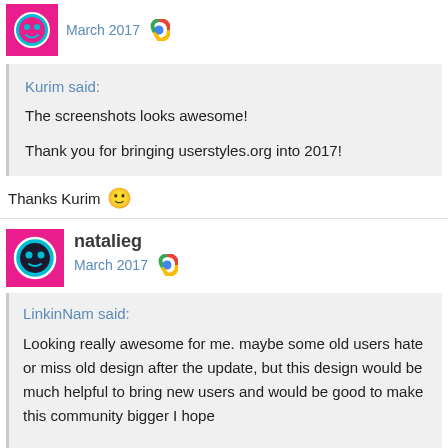March 2017
Kurim said:
The screenshots looks awesome!
Thank you for bringing userstyles.org into 2017!
Thanks Kurim 🙂
natalieg
March 2017
LinkinNam said:
Looking really awesome for me. maybe some old users hate or miss old design after the update, but this design would be much helpful to bring new users and would be good to make this community bigger I hope

I'm afraid about is this server enough to handle the new theme though. even current web design seem really light, I sometimes heaving